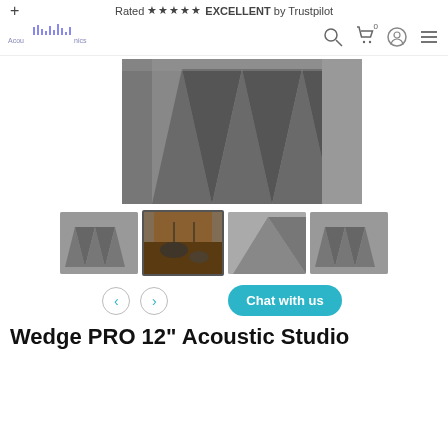Rated ★★★★★ EXCELLENT by Trustpilot
[Figure (logo): Acoustic brand logo with sound waveform graphic and text]
[Figure (photo): Main large product image: dark grey acoustic foam wedge panels stacked at an angle]
[Figure (photo): Thumbnail 1: top-down view of dark grey acoustic foam wedge tile]
[Figure (photo): Thumbnail 2 (selected): recording studio with drum kit and acoustic foam panels on walls]
[Figure (photo): Thumbnail 3: close-up corner view of dark grey wedge acoustic foam]
[Figure (photo): Thumbnail 4: top-down view of dark grey acoustic foam wedge tile]
Chat with us
Wedge PRO 12" Acoustic Studio